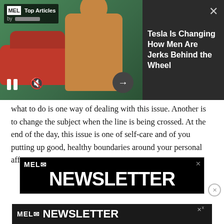[Figure (screenshot): MEL Magazine Top Articles ad banner showing a red Tesla car and a shirtless muscular man with crossed arms. Dark grey right panel with white text headline. UI controls: pause, mute, arrow, close buttons.]
Tesla Is Changing How Men Are Jerks Behind the Wheel
what to do is one way of dealing with this issue. Another is to change the subject when the line is being crossed. At the end of the day, this issue is one of self-care and of you putting up good, healthy boundaries around your personal affairs.”
[Figure (screenshot): MEL Newsletter advertisement banner. Black background with white text: MEL logo with envelope icon and large NEWSLETTER text. Close X button top right.]
[Figure (screenshot): Second MEL Newsletter banner bar at bottom. Dark background with MEL envelope logo and NEWSLETTER text in white. Close X superscript top right.]